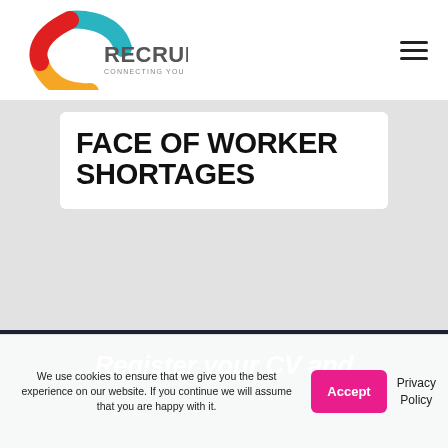[Figure (logo): 2C Recruitment logo — teal, yellow, and red curved shapes forming a '2C' icon, with 'RECRUITMENT' and 'CONNECTING YOU WITH TALENT' text]
[Figure (other): Hamburger menu icon — three horizontal lines]
FACE OF WORKER SHORTAGES
Register your CV and
We use cookies to ensure that we give you the best experience on our website. If you continue we will assume that you are happy with it.
Accept
Privacy Policy